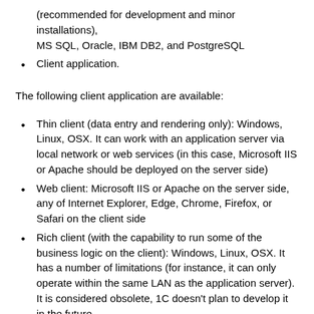(recommended for development and minor installations), MS SQL, Oracle, IBM DB2, and PostgreSQL
Client application.
The following client application are available:
Thin client (data entry and rendering only): Windows, Linux, OSX. It can work with an application server via local network or web services (in this case, Microsoft IIS or Apache should be deployed on the server side)
Web client: Microsoft IIS or Apache on the server side, any of Internet Explorer, Edge, Chrome, Firefox, or Safari on the client side
Rich client (with the capability to run some of the business logic on the client): Windows, Linux, OSX. It has a number of limitations (for instance, it can only operate within the same LAN as the application server). It is considered obsolete, 1C doesn't plan to develop it in the future
Mobile offline client (periodic synchronization supported):